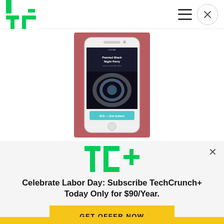[Figure (logo): TechCrunch TC logo in green and black]
[Figure (screenshot): Smartphone displaying an app screen with event/ticketing interface on a pink/mauve background]
[Figure (logo): TC+ TechCrunch Plus logo in green with plus sign]
Celebrate Labor Day: Subscribe TechCrunch+ Today Only for $90/Year.
GET OFFER NOW